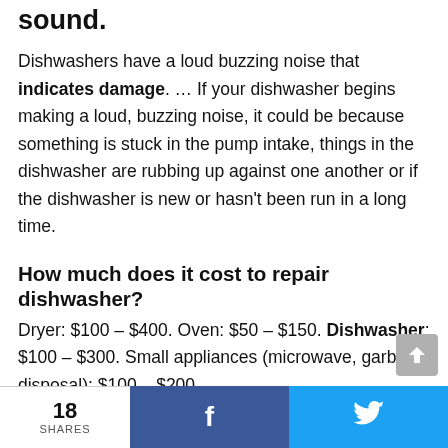sound.
Dishwashers have a loud buzzing noise that indicates damage. … If your dishwasher begins making a loud, buzzing noise, it could be because something is stuck in the pump intake, things in the dishwasher are rubbing up against one another or if the dishwasher is new or hasn't been run in a long time.
How much does it cost to repair dishwasher?
Dryer: $100 – $400. Oven: $50 – $150. Dishwasher: $100 – $300. Small appliances (microwave, garbage disposal): $100 – $200.
18 SHARES  f  🐦